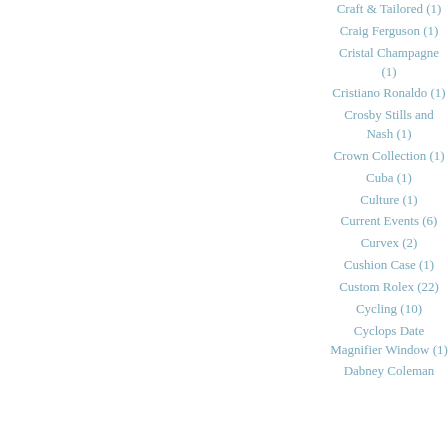Craft & Tailored (1)
Craig Ferguson (1)
Cristal Champagne (1)
Cristiano Ronaldo (1)
Crosby Stills and Nash (1)
Crown Collection (1)
Cuba (1)
Culture (1)
Current Events (6)
Curvex (2)
Cushion Case (1)
Custom Rolex (22)
Cycling (10)
Cyclops Date Magnifier Window (1)
Dabney Coleman